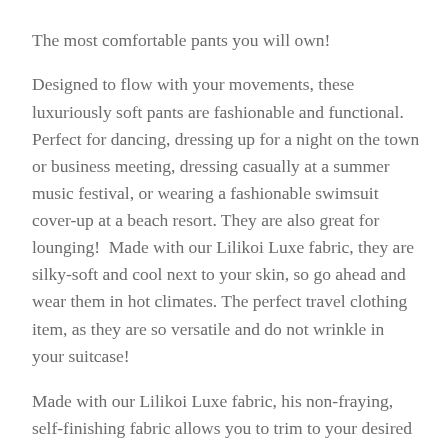The most comfortable pants you will own!
Designed to flow with your movements, these luxuriously soft pants are fashionable and functional. Perfect for dancing, dressing up for a night on the town or business meeting, dressing casually at a summer music festival, or wearing a fashionable swimsuit cover-up at a beach resort. They are also great for lounging!  Made with our Lilikoi Luxe fabric, they are silky-soft and cool next to your skin, so go ahead and wear them in hot climates. The perfect travel clothing item, as they are so versatile and do not wrinkle in your suitcase!
Made with our Lilikoi Luxe fabric, his non-fraying, self-finishing fabric allows you to trim to your desired